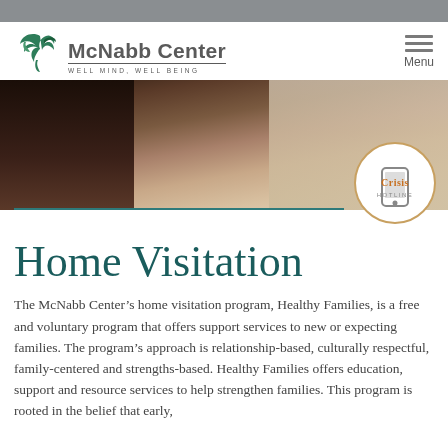McNabb Center — Well Mind, Well Being
[Figure (logo): McNabb Center logo with green bird/leaf icon, text 'McNabb Center' and tagline 'WELL MIND, WELL BEING']
[Figure (photo): Header photo of people, appears to show two people close together, warm tones. A Crisis Hotline badge with phone icon overlaps the lower right.]
Home Visitation
The McNabb Center's home visitation program, Healthy Families, is a free and voluntary program that offers support services to new or expecting families. The program's approach is relationship-based, culturally respectful, family-centered and strengths-based. Healthy Families offers education, support and resource services to help strengthen families. This program is rooted in the belief that early,